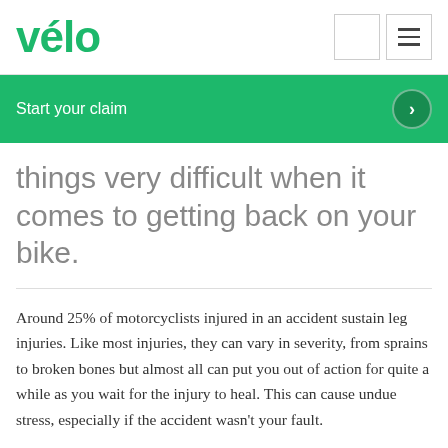vélo
Start your claim
things very difficult when it comes to getting back on your bike.
Around 25% of motorcyclists injured in an accident sustain leg injuries. Like most injuries, they can vary in severity, from sprains to broken bones but almost all can put you out of action for quite a while as you wait for the injury to heal. This can cause undue stress, especially if the accident wasn't your fault.